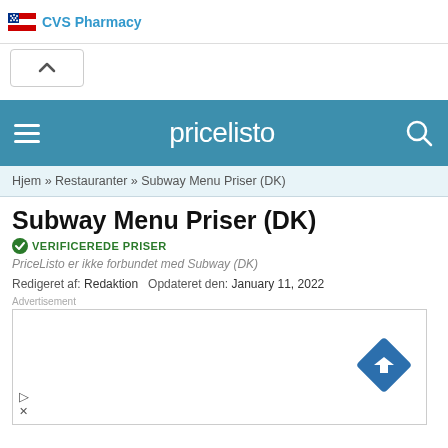CVS Pharmacy
[Figure (screenshot): Collapse/accordion button with up-arrow caret]
[Figure (logo): pricelisto navigation bar with hamburger menu and search icon]
Hjem » Restauranter » Subway Menu Priser (DK)
Subway Menu Priser (DK)
VERIFICEREDE PRISER
PriceListo er ikke forbundet med Subway (DK)
Redigeret af: Redaktion   Opdateret den: January 11, 2022
[Figure (screenshot): Advertisement box with a blue diamond road sign arrow icon]